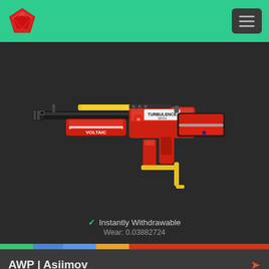[Figure (illustration): CS:GO AK-47 Voltaic skin rendered in 3D on dark background — red, black, white and yellow color scheme with VOLTAIC text on the body]
✓ Instantly Withdrawable
Wear: 0.03882724
AWP | Asiimov
Battle-Scarred / Covert Sniper Rifle / 440
$57.99
Suggested Price $49.99